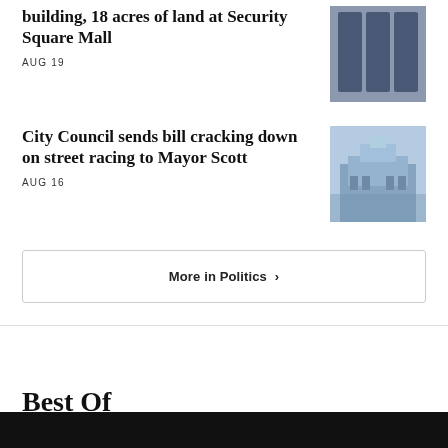building, 18 acres of land at Security Square Mall
AUG 19
[Figure (photo): Close-up of large blue block letters, possibly a sign or logo]
City Council sends bill cracking down on street racing to Mayor Scott
AUG 16
[Figure (photo): Exterior of a classical government or civic building with ornate architecture under blue sky]
More in Politics ›
Best Of